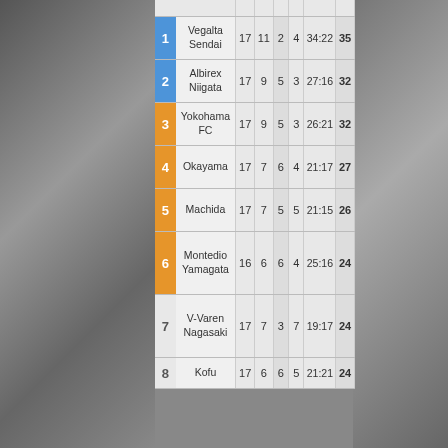| # | Team | P | W | D | L | GD | Pts |
| --- | --- | --- | --- | --- | --- | --- | --- |
| 1 | Vegalta Sendai | 17 | 11 | 2 | 4 | 34:22 | 35 |
| 2 | Albirex Niigata | 17 | 9 | 5 | 3 | 27:16 | 32 |
| 3 | Yokohama FC | 17 | 9 | 5 | 3 | 26:21 | 32 |
| 4 | Okayama | 17 | 7 | 6 | 4 | 21:17 | 27 |
| 5 | Machida | 17 | 7 | 5 | 5 | 21:15 | 26 |
| 6 | Montedio Yamagata | 16 | 6 | 6 | 4 | 25:16 | 24 |
| 7 | V-Varen Nagasaki | 17 | 7 | 3 | 7 | 19:17 | 24 |
| 8 | Kofu | 17 | 6 | 6 | 5 | 21:21 | 24 |